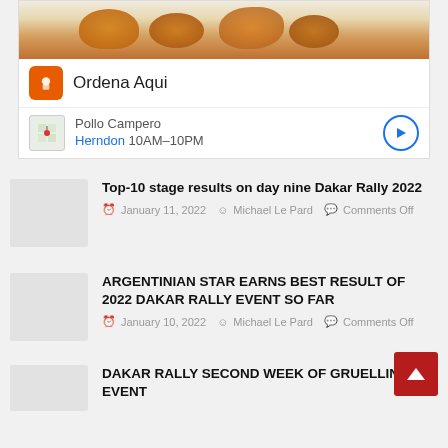[Figure (photo): Advertisement block showing fried chicken food image with Ordena Aqui logo, Pollo Campero restaurant info showing Herndon 10AM–10PM with navigation button]
Top-10 stage results on day nine Dakar Rally 2022
January 11, 2022  Michael Le Pard  Comments Off
ARGENTINIAN STAR EARNS BEST RESULT OF 2022 DAKAR RALLY EVENT SO FAR
January 10, 2022  Michael Le Pard  Comments Off
DAKAR RALLY SECOND WEEK OF GRUELLING EVENT